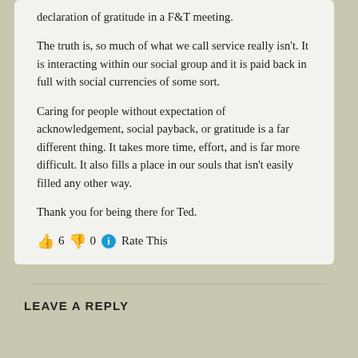declaration of gratitude in a F&T meeting.
The truth is, so much of what we call service really isn't. It is interacting within our social group and it is paid back in full with social currencies of some sort.
Caring for people without expectation of acknowledgement, social payback, or gratitude is a far different thing. It takes more time, effort, and is far more difficult. It also fills a place in our souls that isn't easily filled any other way.
Thank you for being there for Ted.
👍 6 👎 0 ℹ Rate This
LEAVE A REPLY